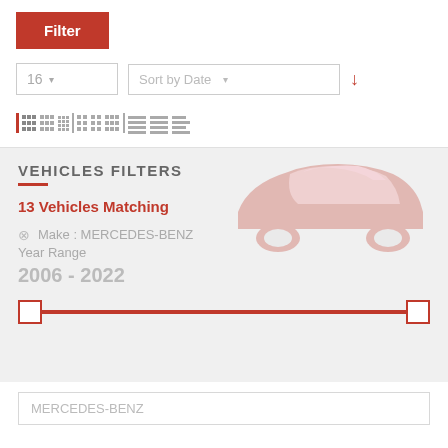[Figure (screenshot): Filter button (red background, white text)]
[Figure (screenshot): Dropdown controls: '16' selector and 'Sort by Date' selector with red down arrow]
[Figure (screenshot): Grid view toggle icons row]
VEHICLES FILTERS
13 Vehicles Matching
Make : MERCEDES-BENZ
Year Range
2006 - 2022
[Figure (screenshot): Year range slider from 2006 to 2022 with red track and white square thumb handles]
MERCEDES-BENZ